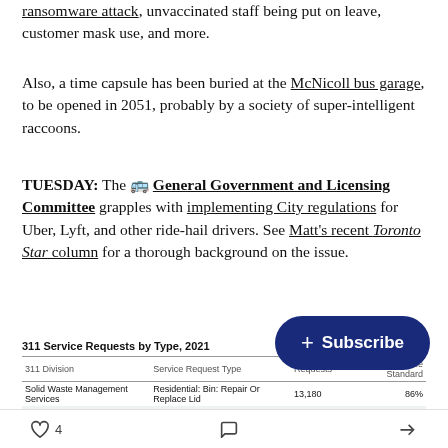ransomware attack, unvaccinated staff being put on leave, customer mask use, and more.
Also, a time capsule has been buried at the McNicoll bus garage, to be opened in 2051, probably by a society of super-intelligent raccoons.
TUESDAY: The 🚌 General Government and Licensing Committee grapples with implementing City regulations for Uber, Lyft, and other ride-hail drivers. See Matt's recent Toronto Star column for a thorough background on the issue.
| 311 Division | Service Request Type | Requests | % Met Service Standard |
| --- | --- | --- | --- |
| Solid Waste Management Services | Residential: Bin: Repair Or Replace Lid | 13,180 | 86% |
| Urban Forestry | General Pruning | 11,712 | 93% |
| Municipal Licensing & Standards | Injur./Dist Wildlife | 10,872 | 99% |
4